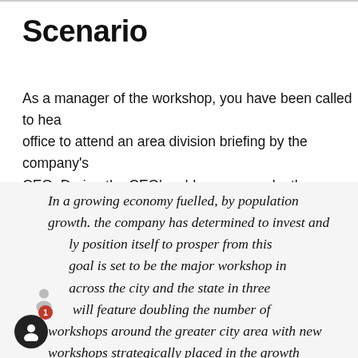Scenario
As a manager of the workshop, you have been called to head office to attend an area division briefing by the company's CEO. During the CEO's address you make the following note
In a growing economy fuelled, by population growth. the company has determined to invest and strategically position itself to prosper from this growth. Our goal is set to be the major workshop in the network across the city and the state in three years. This will feature doubling the number of workshops around the greater city area with new workshops strategically placed in the growth corridors. Additionally, the expansion will include a